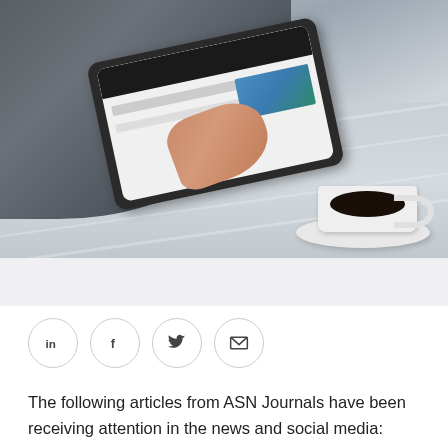[Figure (photo): Person sitting at a wooden table using a tablet, with a cup of coffee nearby. Overhead view showing the person's hands on the tablet screen.]
[Figure (infographic): Row of four circular social media sharing buttons: LinkedIn (in), Facebook (f), Twitter bird icon, and email envelope icon.]
The following articles from ASN Journals have been receiving attention in the news and social media: